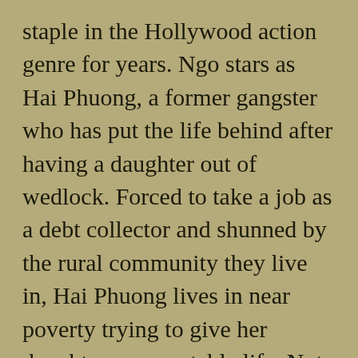staple in the Hollywood action genre for years. Ngo stars as Hai Phuong, a former gangster who has put the life behind after having a daughter out of wedlock. Forced to take a job as a debt collector and shunned by the rural community they live in, Hai Phuong lives in near poverty trying to give her daughter a respectable life. Not only does this hard work go unappreciated by her daughter, Mai (Cat Vy), but her past as a gangster still haunts her and threatens to intrude upon their new life.